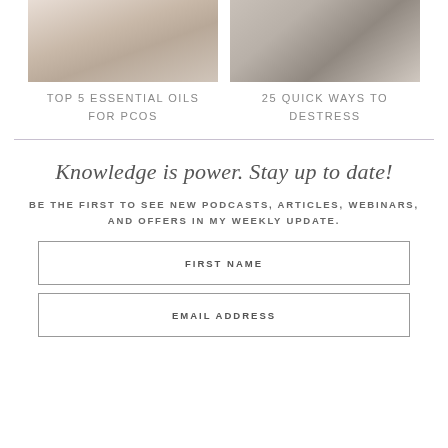[Figure (photo): Photo of essential oils or natural wellness items on a light background]
TOP 5 ESSENTIAL OILS FOR PCOS
[Figure (photo): Photo of hands holding wellness or stress-relief items]
25 QUICK WAYS TO DESTRESS
Knowledge is power. Stay up to date!
BE THE FIRST TO SEE NEW PODCASTS, ARTICLES, WEBINARS, AND OFFERS IN MY WEEKLY UPDATE.
FIRST NAME
EMAIL ADDRESS